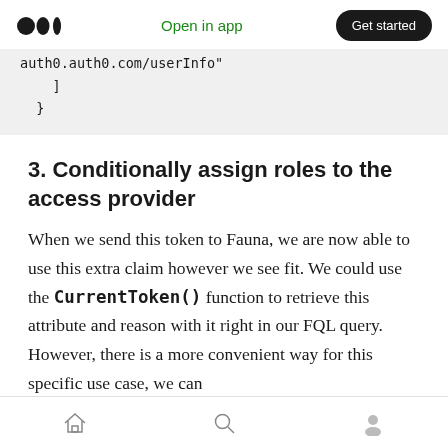Medium | Open in app | Get started
auth0.auth0.com/userinfo"
    ]
  }
3. Conditionally assign roles to the access provider
When we send this token to Fauna, we are now able to use this extra claim however we see fit. We could use the CurrentToken() function to retrieve this attribute and reason with it right in our FQL query. However, there is a more convenient way for this specific use case, we can
Home | Search | Profile